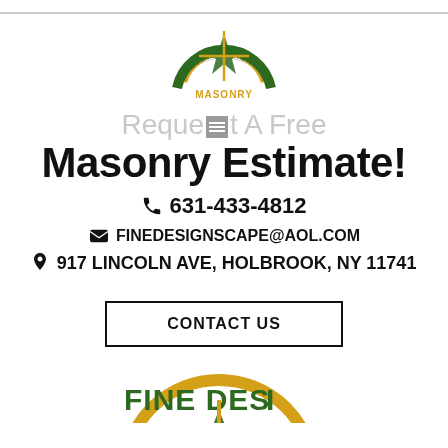[Figure (logo): Fine Design Masonry circular logo with green text and gold arch, top of page]
Request A Free Masonry Estimate!
☎ 631-433-4812
✉ FINEDESIGNSCAPE@AOL.COM
🔻 917 LINCOLN AVE, HOLBROOK, NY 11741
CONTACT US
[Figure (logo): Fine Design Masonry large circular logo partially visible at bottom]